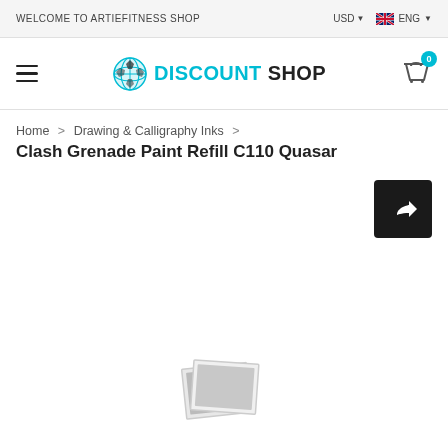WELCOME TO ARTIEFITNESS SHOP
[Figure (logo): Discount Shop logo with globe icon, DISCOUNT in cyan and SHOP in black bold text]
Home > Drawing & Calligraphy Inks > Clash Grenade Paint Refill C110 Quasar
Clash Grenade Paint Refill C110 Quasar
[Figure (illustration): Share/forward button — dark square with white share arrow icon]
[Figure (photo): Placeholder product image thumbnail (two overlapping grey photo frames)]